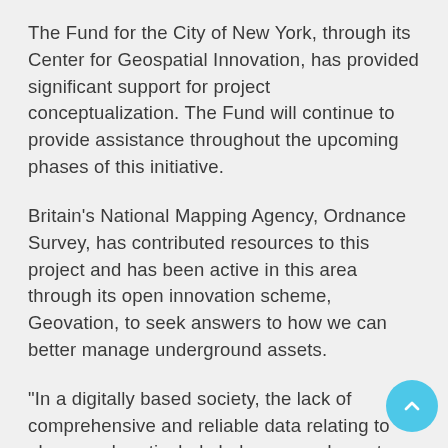The Fund for the City of New York, through its Center for Geospatial Innovation, has provided significant support for project conceptualization. The Fund will continue to provide assistance throughout the upcoming phases of this initiative.
Britain's National Mapping Agency, Ordnance Survey, has contributed resources to this project and has been active in this area through its open innovation scheme, Geovation, to seek answers to how we can better manage underground assets.
"In a digitally based society, the lack of comprehensive and reliable data relating to above and particularly below ground assets, will